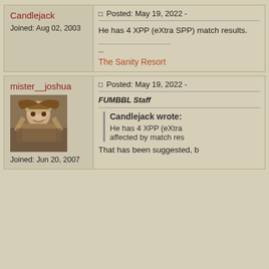Candlejack
Joined: Aug 02, 2003
Posted: May 19, 2022 -
He has 4 XPP (eXtra SPP) match results.
The Sanity Resort
mister__joshua
[Figure (photo): Avatar photo of a man with long hair in a fur coat]
Joined: Jun 20, 2007
Posted: May 19, 2022 -
FUMBBL Staff
Candlejack wrote:
He has 4 XPP (eXtra affected by match res
That has been suggested, b